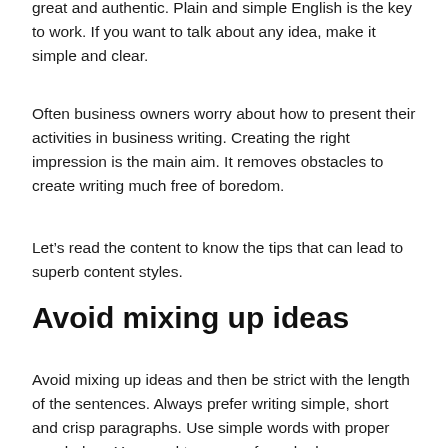great and authentic. Plain and simple English is the key to work. If you want to talk about any idea, make it simple and clear.
Often business owners worry about how to present their activities in business writing. Creating the right impression is the main aim. It removes obstacles to create writing much free of boredom.
Let’s read the content to know the tips that can lead to superb content styles.
Avoid mixing up ideas
Avoid mixing up ideas and then be strict with the length of the sentences. Always prefer writing simple, short and crisp paragraphs. Use simple words with proper vocabulary. You need to convey formal rules